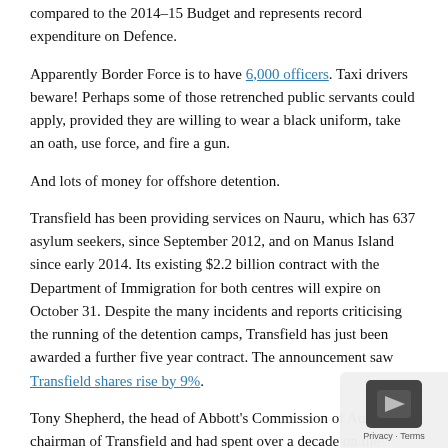compared to the 2014–15 Budget and represents record expenditure on Defence.
Apparently Border Force is to have 6,000 officers. Taxi drivers beware! Perhaps some of those retrenched public servants could apply, provided they are willing to wear a black uniform, take an oath, use force, and fire a gun.
And lots of money for offshore detention.
Transfield has been providing services on Nauru, which has 637 asylum seekers, since September 2012, and on Manus Island since early 2014. Its existing $2.2 billion contract with the Department of Immigration for both centres will expire on October 31. Despite the many incidents and reports criticising the running of the detention camps, Transfield has just been awarded a further five year contract. The announcement saw Transfield shares rise by 9%.
Tony Shepherd, the head of Abbott's Commission of Audit, was chairman of Transfield and had spent over a decade on the board, quitting only in October 2013 to take up the job as Commissioner.
Mr Shepherd left with more than 200,000 Transfield shares allocated to his family superannuation fund, on top of his final salary of $380,000.